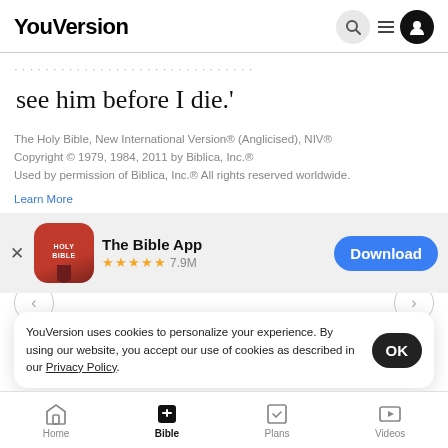YouVersion
see him before I die.'
The Holy Bible, New International Version® (Anglicised), NIV® Copyright © 1979, 1984, 2011 by Biblica, Inc.® Used by permission of Biblica, Inc.® All rights reserved worldwide.
Learn More
[Figure (screenshot): The Bible App download banner with app icon (red Holy Bible icon), name 'The Bible App', 5 gold stars, 7.9M rating, and a blue Download button]
YouVersion uses cookies to personalize your experience. By using our website, you accept our use of cookies as described in our Privacy Policy.
Joseph
Home   Bible   Plans   Videos